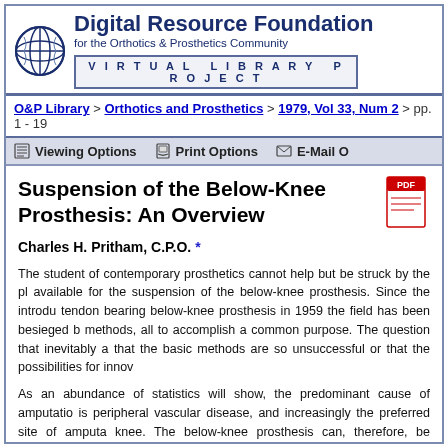Digital Resource Foundation for the Orthotics & Prosthetics Community — VIRTUAL LIBRARY PROJECT
O&P Library > Orthotics and Prosthetics > 1979, Vol 33, Num 2 > pp. 1 - 19
Suspension of the Below-Knee Prosthesis: An Overview
Charles H. Pritham, C.P.O. *
The student of contemporary prosthetics cannot help but be struck by the pl available for the suspension of the below-knee prosthesis. Since the introdu tendon bearing below-knee prosthesis in 1959 the field has been besieged b methods, all to accomplish a common purpose. The question that inevitably a that the basic methods are so unsuccessful or that the possibilities for innov
As an abundance of statistics will show, the predominant cause of amputatio is peripheral vascular disease, and increasingly the preferred site of amputa knee. The below-knee prosthesis can, therefore, be characterized as the "b prosthesis," the one upon which the prosthetist counts to pay salaries and o tendency is to use the method which the prosthetist finds best enables him t needs of the patient most expeditiously and economically. The concern, of c beyond the point of delivery and the prosthetist desires to find a technique